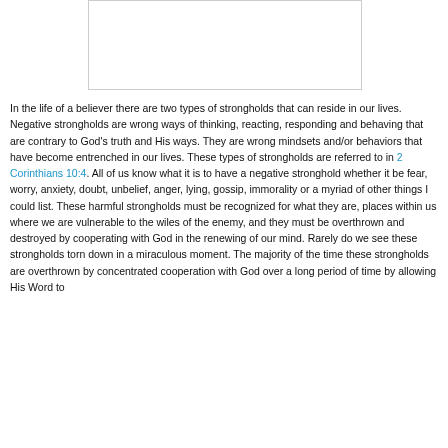[Figure (other): Blank white rectangular image placeholder with light gray border]
In the life of a believer there are two types of strongholds that can reside in our lives. Negative strongholds are wrong ways of thinking, reacting, responding and behaving that are contrary to God's truth and His ways.  They are wrong mindsets and/or behaviors that have become entrenched in our lives. These types of strongholds are referred to in 2 Corinthians 10:4.  All of us know what it is to have a negative stronghold whether it be fear, worry, anxiety, doubt, unbelief, anger, lying, gossip, immorality or a myriad of other things I could list.  These harmful strongholds must be recognized for what they are, places within us where we are vulnerable to the wiles of the enemy, and they must be overthrown and destroyed by cooperating with God in the renewing of our mind.  Rarely do we see these strongholds torn down in a miraculous moment.  The majority of the time these strongholds are overthrown by concentrated cooperation with God over a long period of time by allowing His Word to